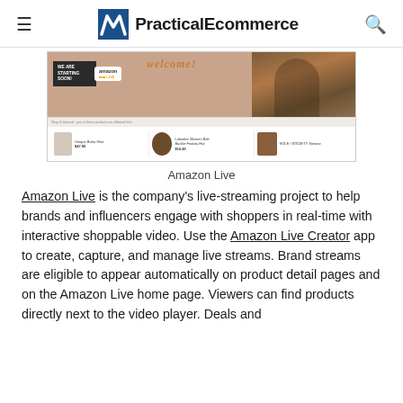PracticalEcommerce
[Figure (screenshot): Amazon Live streaming page showing 'welcome!' banner, 'WE ARE STARTING SOON!' box, Amazon Live logo, a model in floral dress, and product listings below including a boho shirt, hat, and boot with prices.]
Amazon Live
Amazon Live is the company's live-streaming project to help brands and influencers engage with shoppers in real-time with interactive shoppable video. Use the Amazon Live Creator app to create, capture, and manage live streams. Brand streams are eligible to appear automatically on product detail pages and on the Amazon Live home page. Viewers can find products directly next to the video player. Deals and